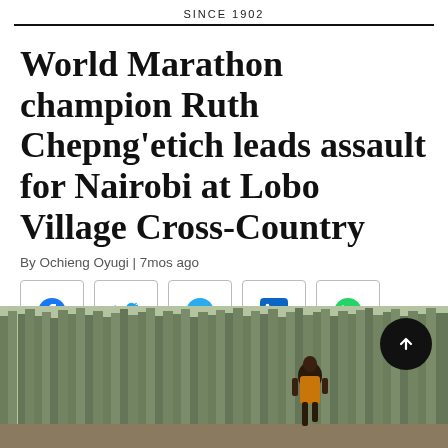SINCE 1902
World Marathon champion Ruth Chepng'etich leads assault for Nairobi at Lobo Village Cross-Country
By Ochieng Oyugi | 7mos ago
[Figure (illustration): Social media share buttons: Facebook, Twitter, Telegram, LinkedIn, WhatsApp]
[Figure (photo): A runner in an orange vest running through a forested area with tall trees in the background]